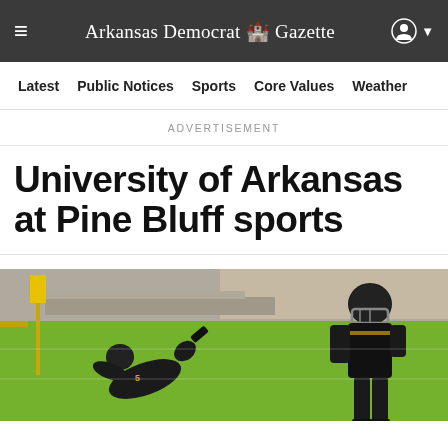Arkansas Democrat Gazette
Latest  Public Notices  Sports  Core Values  Weather
ADVERTISEMENT
University of Arkansas at Pine Bluff sports
[Figure (photo): Football players on a green field, one player diving/falling and another standing in black and gold uniforms, with bleachers and a building visible in the background. A yellow flag or marker is visible at left.]